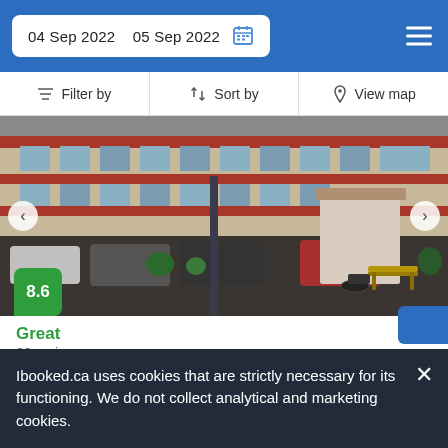04 Sep 2022   05 Sep 2022
Filter by   Sort by   View map
[Figure (photo): Exterior photo of a motel parking lot with cars, motorcycles, a bench, and a two-story building with red trim. Score badge showing 8.6 overlaid at bottom left.]
Great
20 reviews
16.5 km from Rocky Ford
16.5 km from City Centre
Located a few steps from Otero Junior College, the hotel features 31 rooms with views over the landscape.
Ibooked.ca uses cookies that are strictly necessary for its functioning. We do not collect analytical and marketing cookies.